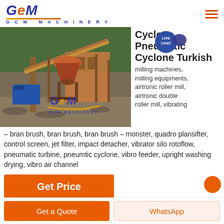GCM MACHINERY
[Figure (photo): Industrial mining/crushing machinery on an outdoor site with conveyor belts and a cone crusher, with a GCM Machinery logo watermark overlay]
Cyclone, Pneumatic Cyclone Turkish
milling machines, milling equipments, airtronic roller mill, airtronic double roller mill, vibrating – bran brush, bran brush, bran brush – monster, quadro plansifter, control screen, jet filter, impact detacher, vibrator silo rotoflow, pneumatic turbine, pneumtic cyclone, vibro feeder, upright washing drying, vibro air channel
Get Price
Get a Quote
WhatsApp